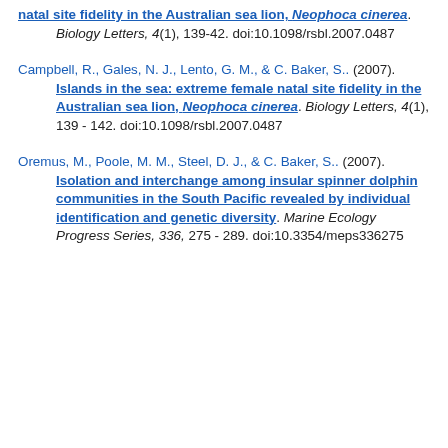natal site fidelity in the Australian sea lion, Neophoca cinerea. Biology Letters, 4(1), 139-42. doi:10.1098/rsbl.2007.0487
Campbell, R., Gales, N. J., Lento, G. M., & C. Baker, S.. (2007). Islands in the sea: extreme female natal site fidelity in the Australian sea lion, Neophoca cinerea. Biology Letters, 4(1), 139 - 142. doi:10.1098/rsbl.2007.0487
Oremus, M., Poole, M. M., Steel, D. J., & C. Baker, S.. (2007). Isolation and interchange among insular spinner dolphin communities in the South Pacific revealed by individual identification and genetic diversity. Marine Ecology Progress Series, 336, 275 - 289. doi:10.3354/meps336275